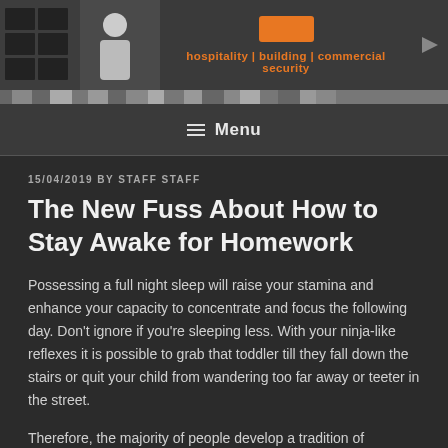[Figure (screenshot): Website header banner with security camera image on left, orange button and tagline 'hospitality | building | commercial security' on right, on dark background]
[Figure (photo): Filmstrip of small thumbnail images across the full width]
≡ Menu
15/04/2019 BY STAFF STAFF
The New Fuss About How to Stay Awake for Homework
Possessing a full night sleep will raise your stamina and enhance your capacity to concentrate and focus the following day. Don't ignore if you're sleeping less. With your ninja-like reflexes it is possible to grab that toddler till they fall down the stairs or quit your child from wandering too far away or teeter in the street.
Therefore, the majority of people develop a tradition of